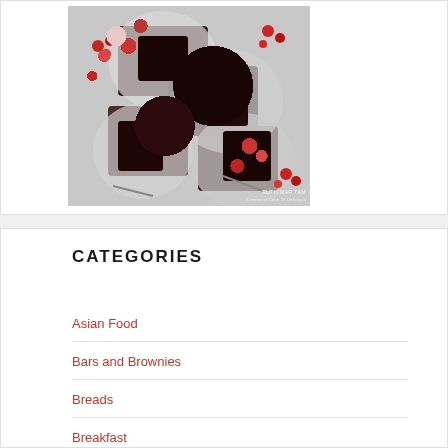[Figure (photo): Overhead view of chocolate cake slices on plates with raspberries and spoons, with a watermark reading 'RUTH MAR TAM Creator of Cook Til Delicious']
CATEGORIES
Asian Food
Bars and Brownies
Breads
Breakfast